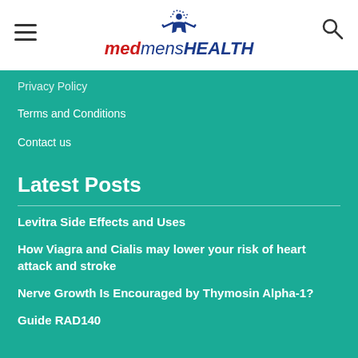[Figure (logo): Med Mens Health logo with blue human figure silhouette above stylized text: red italic 'med', blue italic 'mens', bold blue 'HEALTH']
Privacy Policy
Terms and Conditions
Contact us
Latest Posts
Levitra Side Effects and Uses
How Viagra and Cialis may lower your risk of heart attack and stroke
Nerve Growth Is Encouraged by Thymosin Alpha-1?
Guide RAD140